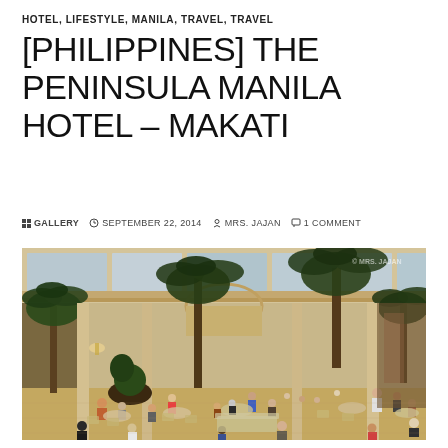HOTEL, LIFESTYLE, MANILA, TRAVEL, TRAVEL
[PHILIPPINES] THE PENINSULA MANILA HOTEL – MAKATI
GALLERY   SEPTEMBER 22, 2014   MRS. JAJAN   1 COMMENT
[Figure (photo): Aerial/overhead interior view of The Peninsula Manila Hotel lobby in Makati, featuring tall palm trees, elegant columns, arched windows, chandeliers, and many guests seated at tables in the grand atrium lobby restaurant area.]